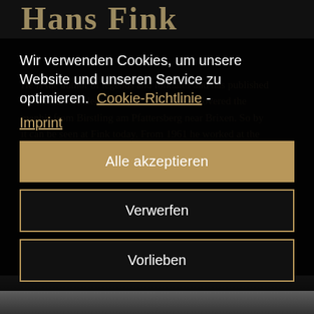Hans Fink
He is the author of legends and folktales and has published a number of dialect poems. In 1953 he discovered the menhir from Birstling am Pfattersberg near Brixen. So by it can be seen at Fink today. From 1961 he worked at the Bolzano Radio Station and designed numerous radio programmes.
Wir verwenden Cookies, um unsere Website und unseren Service zu optimieren.
Cookie-Richtlinie - Imprint
Alle akzeptieren
Verwerfen
Vorlieben
[Figure (photo): Black and white photo strip at the bottom of the page showing a person]